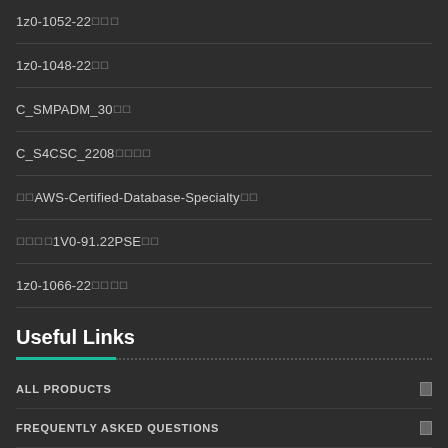1z0-1052-22🔲🔲🔲
1z0-1048-22🔲🔲
C_SMPADM_30🔲🔲
C_S4CSC_2208🔲🔲🔲🔲
🔲🔲AWS-Certified-Database-Specialty🔲🔲
🔲🔲🔲🔲1V0-91.22PSE🔲🔲
1z0-1066-22🔲🔲🔲🔲
Useful Links
ALL PRODUCTS
FREQUENTLY ASKED QUESTIONS